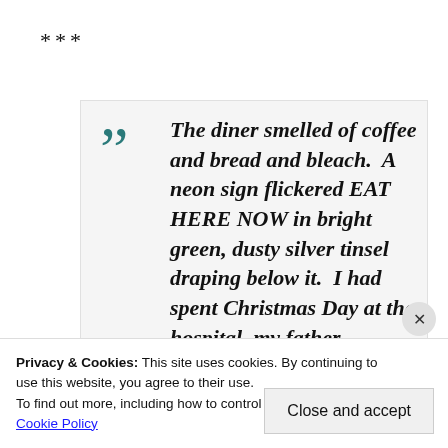***
The diner smelled of coffee and bread and bleach.  A neon sign flickered EAT HERE NOW in bright green, dusty silver tinsel draping below it.  I had spent Christmas Day at the hospital, my father moaning for pain
Privacy & Cookies: This site uses cookies. By continuing to use this website, you agree to their use.
To find out more, including how to control cookies, see here:
Cookie Policy
Close and accept